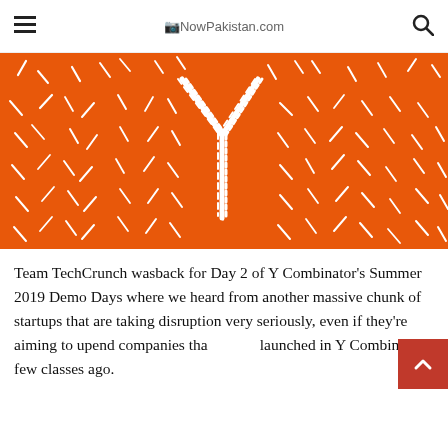NowPakistan.com
[Figure (illustration): Orange background with white hand-drawn Y Combinator logo (letter Y) in the center, surrounded by scattered white dashes and marks]
Team TechCrunch wasback for Day 2 of Y Combinator's Summer 2019 Demo Days where we heard from another massive chunk of startups that are taking disruption very seriously, even if they're aiming to upend companies that launched in Y Combinatora few classes ago.